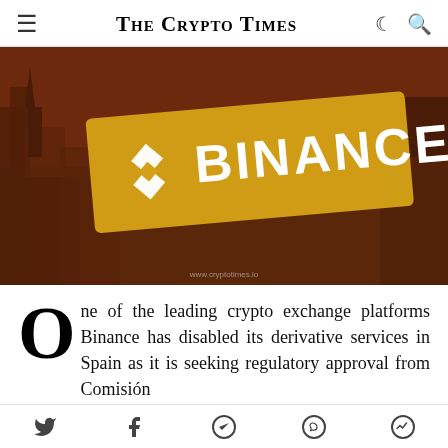The Crypto Times
[Figure (photo): Binance logo on a golden banner overlaid on a reddish-tinted cityscape background with Spanish architecture. Text 'BINANCE' in white with the Binance diamond logo. Watermark: www.cryptotimes.io]
One of the leading crypto exchange platforms Binance has disabled its derivative services in Spain as it is seeking regulatory approval from Comisión
Social share icons: Twitter, Facebook, Telegram, WhatsApp, Messenger